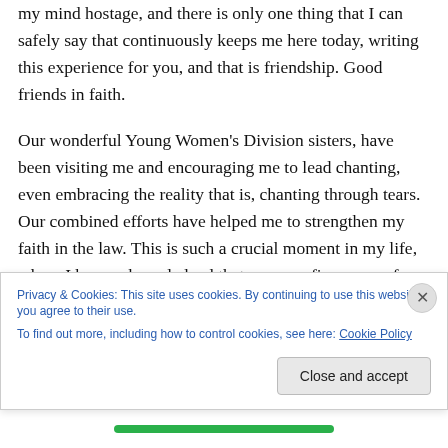I have survived the devils and obstacles who often take my mind hostage, and there is only one thing that I can safely say that continuously keeps me here today, writing this experience for you, and that is friendship. Good friends in faith.
Our wonderful Young Women's Division sisters, have been visiting me and encouraging me to lead chanting, even embracing the reality that is, chanting through tears. Our combined efforts have helped me to strengthen my faith in the law. This is such a crucial moment in my life, where I have acknowledged that over my five years of practice, I
Privacy & Cookies: This site uses cookies. By continuing to use this website, you agree to their use.
To find out more, including how to control cookies, see here: Cookie Policy